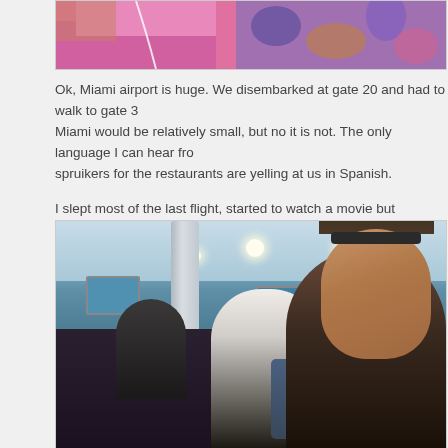[Figure (photo): Partial top view of photo showing colorful clothing, pink and patterned fabric, cropped at top of page]
Ok, Miami airport is huge. We disembarked at gate 20 and had to walk to gate 3... Miami would be relatively small, but no it is not. The only language I can hear fro... spruikers for the restaurants are yelling at us in Spanish.
I slept most of the last flight, started to watch a movie but crashed about 10 min... pretty shattered. We have only one hour here and the last leg is our shortest. Ne...
[Figure (photo): Photo of people sitting in Miami airport terminal, with a woman with sunglasses on her head in the foreground right, another woman in the middle background, and other travellers visible. Airport interior with columns, ceiling lights, and blue screens visible.]